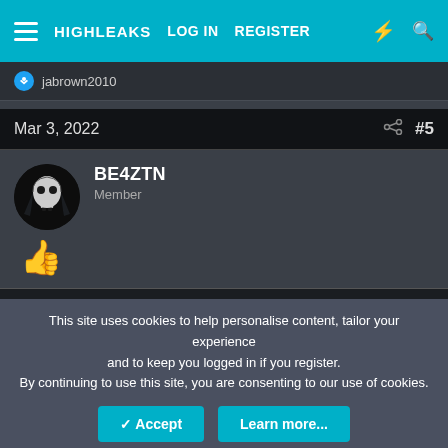HIGHLEAKS  LOG IN  REGISTER
jabrown2010
Mar 3, 2022  #5
BE4ZTN
Member
[Figure (illustration): Thumbs up emoji 👍]
This site uses cookies to help personalise content, tailor your experience and to keep you logged in if you register.
By continuing to use this site, you are consenting to our use of cookies.
Accept  Learn more...